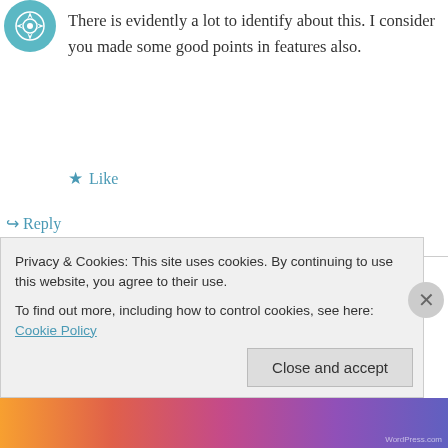[Figure (illustration): Teal/green circular avatar icon with geometric pattern, top-left]
There is evidently a lot to identify about this. I consider you made some good points in features also.
★ Like
↪ Reply
[Figure (illustration): Teal/green circular avatar icon with geometric flower pattern]
funnjt@gmail.com on 11/30/2014 at 5:02 AM
I was looking for, and I am glad to came here!
Thanks for sharing the good information with...
Privacy & Cookies: This site uses cookies. By continuing to use this website, you agree to their use.
To find out more, including how to control cookies, see here: Cookie Policy
Close and accept